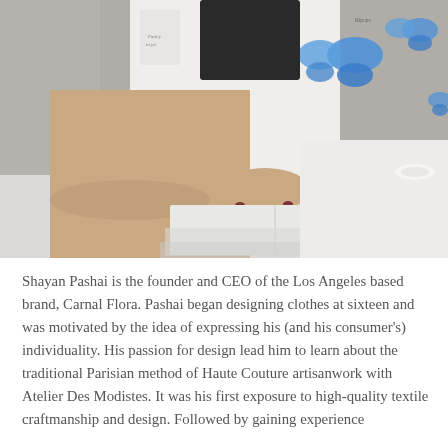[Figure (photo): A person sitting on a white bed reading an open magazine or book, wearing black shorts and a white patterned top with blue butterfly prints. The photo is cropped at the torso and legs level.]
Shayan Pashai is the founder and CEO of the Los Angeles based brand, Carnal Flora. Pashai began designing clothes at sixteen and was motivated by the idea of expressing his (and his consumer's) individuality. His passion for design lead him to learn about the traditional Parisian method of Haute Couture artisanwork with Atelier Des Modistes. It was his first exposure to high-quality textile craftmanship and design. Followed by gaining experience